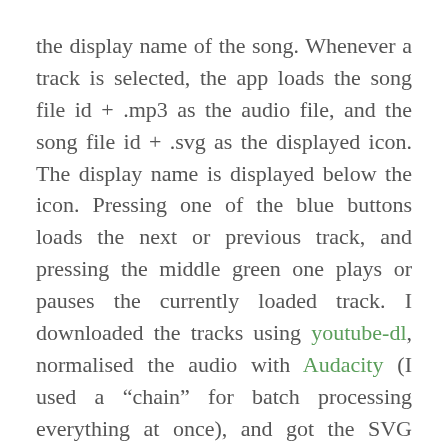the display name of the song. Whenever a track is selected, the app loads the song file id + .mp3 as the audio file, and the song file id + .svg as the displayed icon. The display name is displayed below the icon. Pressing one of the blue buttons loads the next or previous track, and pressing the middle green one plays or pauses the currently loaded track. I downloaded the tracks using youtube-dl, normalised the audio with Audacity (I used a “chain” for batch processing everything at once), and got the SVG icons from flaticon.com.
The page is served using a Python